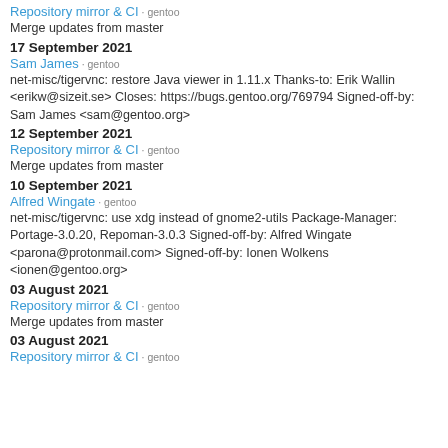Repository mirror & CI · gentoo
Merge updates from master
17 September 2021
Sam James · gentoo
net-misc/tigervnc: restore Java viewer in 1.11.x Thanks-to: Erik Wallin <erikw@sizeit.se> Closes: https://bugs.gentoo.org/769794 Signed-off-by: Sam James <sam@gentoo.org>
12 September 2021
Repository mirror & CI · gentoo
Merge updates from master
10 September 2021
Alfred Wingate · gentoo
net-misc/tigervnc: use xdg instead of gnome2-utils Package-Manager: Portage-3.0.20, Repoman-3.0.3 Signed-off-by: Alfred Wingate <parona@protonmail.com> Signed-off-by: Ionen Wolkens <ionen@gentoo.org>
03 August 2021
Repository mirror & CI · gentoo
Merge updates from master
03 August 2021
Repository mirror & CI · gentoo